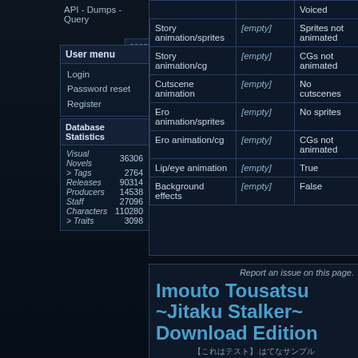API - Dumps - Query
search
User menu
Login
Password reset
Register
Database Statistics
| Category | Count |
| --- | --- |
| Visual Novels | 36306 |
| > Tags | 2764 |
| Releases | 90314 |
| Producers | 14538 |
| Staff | 27096 |
| Characters | 110280 |
| > Traits | 3098 |
|  |  | Voiced |
| --- | --- | --- |
| Story animation/sprites | [empty] | Sprites not animated |
| Story animation/cg | [empty] | CGs not animated |
| Cutscene animation | [empty] | No cutscenes |
| Ero animation/sprites | [empty] | No sprites |
| Ero animation/cg | [empty] | CGs not animated |
| Lip/eye animation | [empty] | True |
| Background effects | [empty] | False |
Report an issue on this page.
Imouto Tousatsu ~Jitaku Stalker~ Download Edition